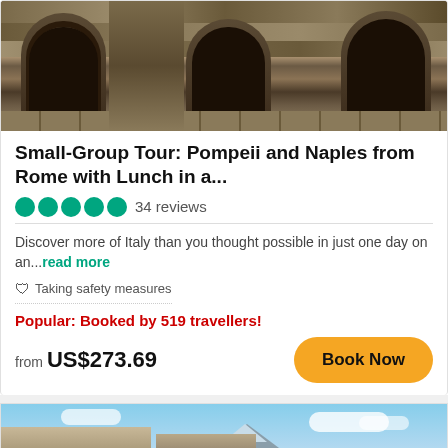[Figure (photo): Ancient Roman ruins with stone arches and paved road]
Small-Group Tour: Pompeii and Naples from Rome with Lunch in a...
5 green circles (rating) 34 reviews
Discover more of Italy than you thought possible in just one day on an...read more
🛡 Taking safety measures
Popular: Booked by 519 travellers!
from US$273.69
[Figure (photo): Aerial view of Naples coastline with Mount Vesuvius in background and blue sea]